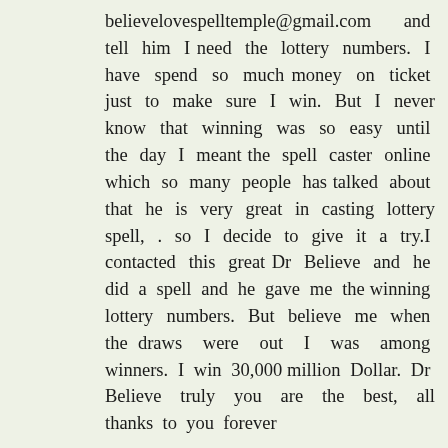believelovespelltemple@gmail.com and tell him I need the lottery numbers. I have spend so much money on ticket just to make sure I win. But I never know that winning was so easy until the day I meant the spell caster online which so many people has talked about that he is very great in casting lottery spell, . so I decide to give it a try.I contacted this great Dr Believe and he did a spell and he gave me the winning lottery numbers. But believe me when the draws were out I was among winners. I win 30,000 million Dollar. Dr Believe truly you are the best, all thanks to you forever